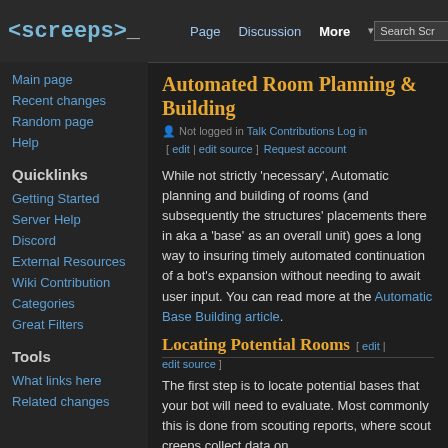<screeps> | Page | Discussion | More | Search Screeps
Automated Room Planning & Building [ edit | edit source ]
Not logged in · Talk · Contributions · Log in · Request account
While not strictly 'necessary', Automatic planning and building of rooms (and subsequently the structures' placements there in aka a 'base' as an overall unit) goes a long way to insuring timely automated continuation of a bot's expansion without needing to await user input. You can read more at the Automatic Base Building article.
Locating Potential Rooms [ edit | edit source ]
The first step is to locate potential bases that your bot will need to evaluate. Most commonly this is done from scouting reports, where scout creeps collect data on
Quicklinks
Getting Started
Server Help
Discord
External Resources
Wiki Contribution
Categories
Great Filters
Tools
What links here
Related changes
Main page
Recent changes
Random page
Help